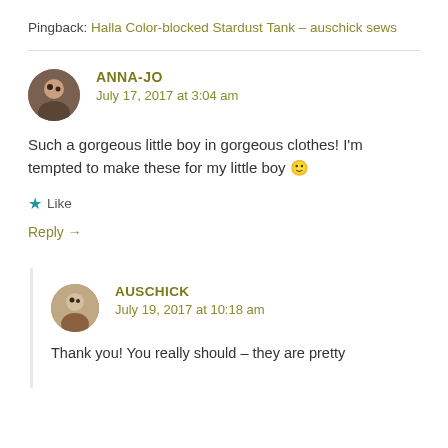Pingback: Halla Color-blocked Stardust Tank – auschick sews
ANNA-JO
July 17, 2017 at 3:04 am
Such a gorgeous little boy in gorgeous clothes! I'm tempted to make these for my little boy 🙂
Like
Reply →
AUSCHICK
July 19, 2017 at 10:18 am
Thank you! You really should – they are pretty